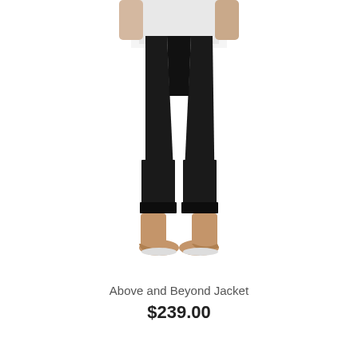[Figure (photo): A model wearing black wide-leg trousers with cuffed hems and tan/nude wedge heels. The photo is cropped at the torso, showing a white top, black pants, and shoes against a white background.]
Above and Beyond Jacket
$239.00